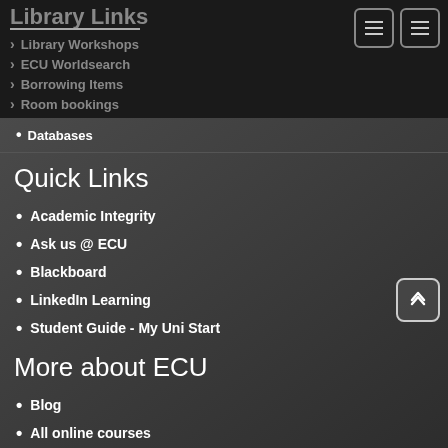Library Links
Library Workshops
ECU Worldsearch
Borrowing Items
Room bookings
Databases
Quick Links
Academic Integrity
Ask us @ ECU
Blackboard
LinkedIn Learning
Student Guide - My Uni Start
More about ECU
Blog
All online courses